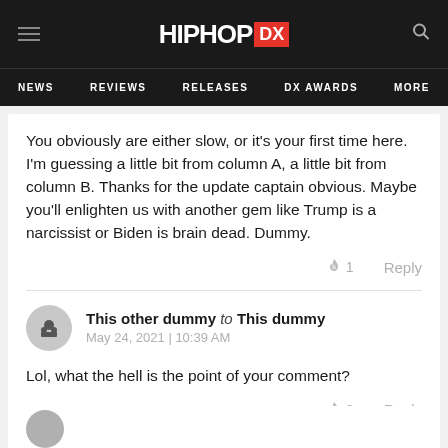HIPHOP DX — NEWS | REVIEWS | RELEASES | DX AWARDS | MORE
You obviously are either slow, or it's your first time here. I'm guessing a little bit from column A, a little bit from column B. Thanks for the update captain obvious. Maybe you'll enlighten us with another gem like Trump is a narcissist or Biden is brain dead. Dummy.
🔥 1    Reply
This other dummy to This dummy
May 24, 2021 | 10:39 AM
Lol, what the hell is the point of your comment?
🔥 2    Reply